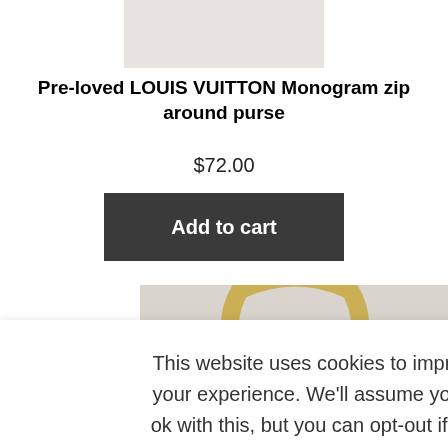[Figure (photo): Partial product image at top of page, cropped Louis Vuitton purse]
Pre-loved LOUIS VUITTON Monogram zip around purse
$72.00
Add to cart
[Figure (photo): Product image of a woven/basket-style handbag with gold handle, partially covered by cookie banner]
This website uses cookies to improve your experience. We'll assume you're ok with this, but you can opt-out if you wish.   Cookie settings
ACCEPT